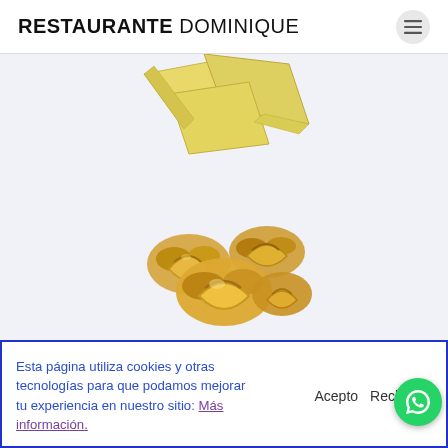RESTAURANTE DOMINIQUE
[Figure (photo): Partially visible flat pasta pieces (lasagna-style sheets) on a light background]
[Figure (photo): Several tortellini pasta pieces grouped together on a light background]
SALTEADO – SAUTÉ
Esta página utiliza cookies y otras tecnologías para que podamos mejorar tu experiencia en nuestro sitio: Más información.
Acepto   Rechazar